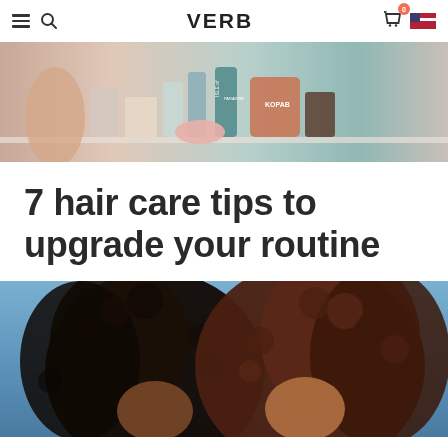VERB
[Figure (photo): A bathroom shelf with various beauty and skincare products including Isle of Paradise, KOPAB, and Origins brands, with a person's hand reaching for items.]
7 hair care tips to upgrade your routine
[Figure (photo): Two people with large curly hair photographed against a blue sky background, facing the camera.]